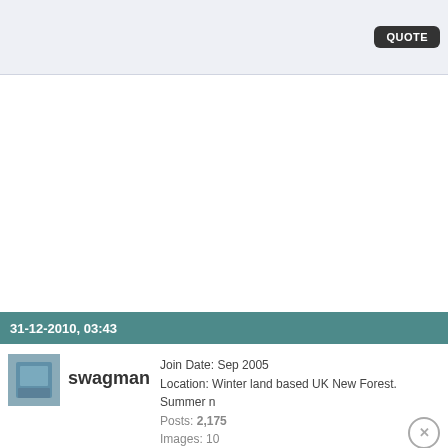QUOTE
31-12-2010, 03:43
swagman
Join Date: Sep 2005
Location: Winter land based UK New Forest. Summer n
Posts: 2,175
Images: 10
Hanny I am obviously not making it clear